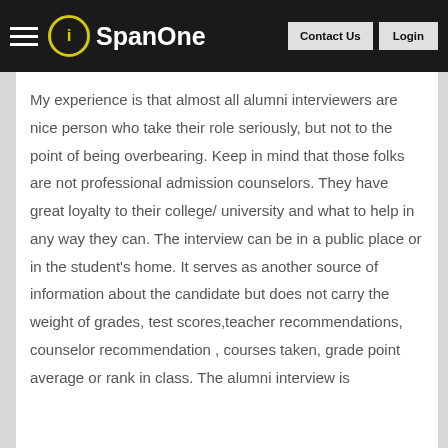SpanOne — Contact Us | Login
My experience is that almost all alumni interviewers are nice person who take their role seriously, but not to the point of being overbearing. Keep in mind that those folks are not professional admission counselors. They have great loyalty to their college/ university and what to help in any way they can. The interview can be in a public place or in the student's home. It serves as another source of information about the candidate but does not carry the weight of grades, test scores,teacher recommendations, counselor recommendation , courses taken, grade point average or rank in class. The alumni interview is